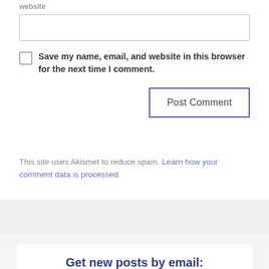website
Save my name, email, and website in this browser for the next time I comment.
Post Comment
This site uses Akismet to reduce spam. Learn how your comment data is processed.
Get new posts by email:
Enter your email